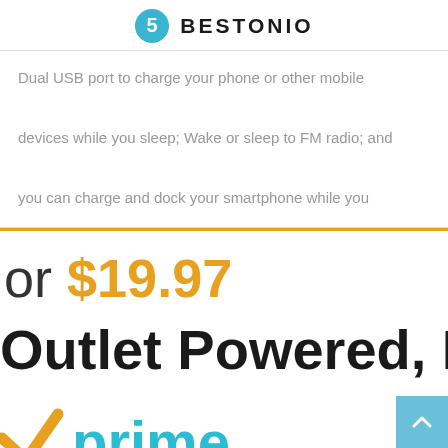BESTONIO
Dual USB port to charge your phone or other mobile devices while you sleep; Wake or sleep to FM radio; and you can charge and dock your smartphone while you
or $19.97
Outlet Powered, N
[Figure (logo): Amazon Prime logo with orange checkmark and 'prime' text in blue]